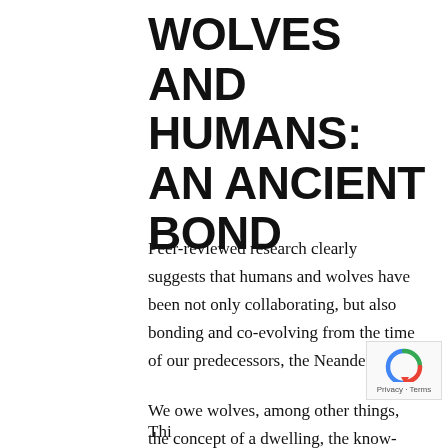WOLVES AND HUMANS: AN ANCIENT BOND
Peer-reviewed research clearly suggests that humans and wolves have been not only collaborating, but also bonding and co-evolving from the time of our predecessors, the Neanderthals.
We owe wolves, among other things, the concept of a dwelling, the know-how and ability to herd, and the sense of loyalty and care of family.
Thi...